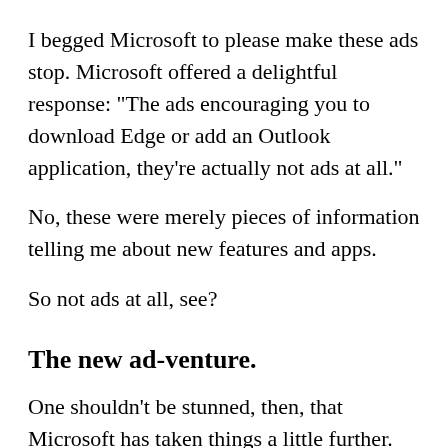I begged Microsoft to please make these ads stop. Microsoft offered a delightful response: "The ads encouraging you to download Edge or add an Outlook application, they're actually not ads at all."
No, these were merely pieces of information telling me about new features and apps.
So not ads at all, see?
The new ad-venture.
One shouldn't be stunned, then, that Microsoft has taken things a little further. Why, one Twitterer, Nick Smith, was outraged at what Microsoft had done to his Outlook iOS app.